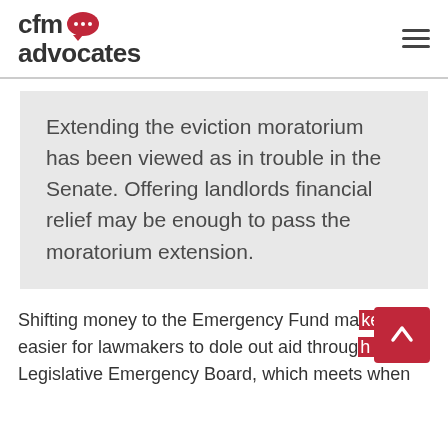cfm advocates
Extending the eviction moratorium has been viewed as in trouble in the Senate. Offering landlords financial relief may be enough to pass the moratorium extension.
Shifting money to the Emergency Fund makes it easier for lawmakers to dole out aid through the Legislative Emergency Board, which meets when